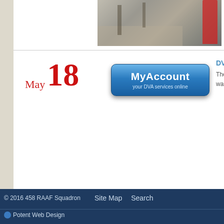[Figure (photo): Outdoor photograph showing a scene with trees, ground features, and a red post or flag in the right side]
May 18
[Figure (screenshot): MyAccount button - a blue rounded button with text 'MyAccount' and subtitle 'your DVA services online']
DV
The
war
© 2016 458 RAAF Squadron   Site Map   Search
Potent Web Design